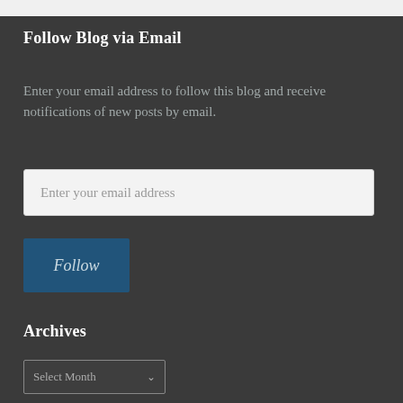Follow Blog via Email
Enter your email address to follow this blog and receive notifications of new posts by email.
Enter your email address
Follow
Archives
Select Month